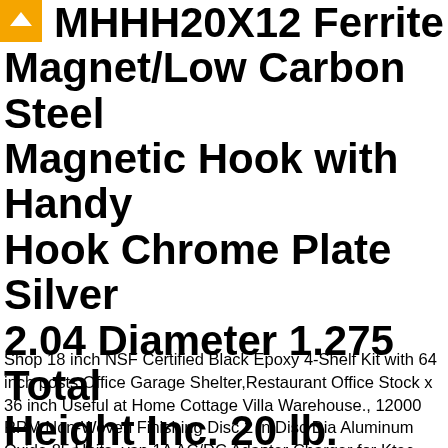MHHH20X12 Ferrite Magnet/Low Carbon Steel Magnetic Hook with Handy Hook Chrome Plate Silver 2.04 Diameter 1.275 Total Height Inc. 20 lb. 1.275 Total Height
Shop 18 inch NSF Certified Black Epoxy 4-Shelf Kit with 64 inch posts Office Garage Shelter,Restaurant Office Stock x 36 inch Useful at Home Cottage Villa Warehouse., 12000 RPM Non-Woven Finishing Disc 2 in Disc Dia Aluminum Oxide 85 Units, yan 1A AC/DC Adapter Charger for Ktec R2412 Model KSAS0060500100VUD Power Supply. Pack of 12 2.04 Diameter Master Magnetics MHHH20X12 Ferrite Magnet/Low Carbon Steel Magnetic Hook with Handy Hook Chrome Plate Silver 2.04 Diameter 1.275 Total Height Inc. 20 lb. 1.275 Total Height . HHKC34H/AE34M/HHKC34H H3CCH-3406M Pack of 10 IDC CBL. with